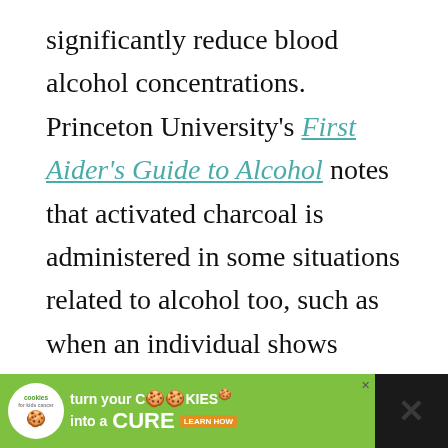significantly reduce blood alcohol concentrations. Princeton University's First Aider's Guide to Alcohol notes that activated charcoal is administered in some situations related to alcohol too, such as when an individual shows signs of acute alcohol poisoning or is unconscious.
[Figure (screenshot): UI elements: heart/like button (teal circle with heart icon), like count '28.7K', and share button (circle with share icon)]
[Figure (infographic): Advertisement banner: 'Cookies for Kids Cancer' - turn your COOKIES into a CURE LEARN HOW, on green background with dark right panel]